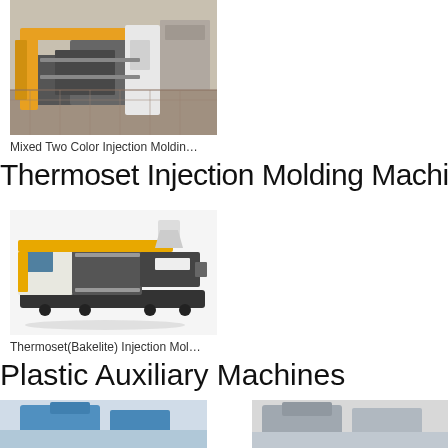[Figure (photo): Industrial injection molding machine in a factory, with yellow frame components and a white control panel, shot in a manufacturing facility]
Mixed Two Color Injection Moldin…
Thermoset Injection Molding Machine
[Figure (photo): Thermoset (Bakelite) injection molding machine with yellow and black color scheme, white hopper on top, and digital control panel on the left side]
Thermoset(Bakelite) Injection Mol…
Plastic Auxiliary Machines
[Figure (photo): Partial view of blue plastic auxiliary machine at bottom left]
[Figure (photo): Partial view of plastic auxiliary machine at bottom right]